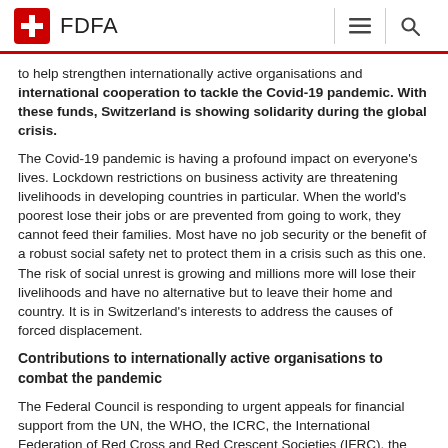FDFA
to help strengthen internationally active organisations and international cooperation to tackle the Covid-19 pandemic. With these funds, Switzerland is showing solidarity during the global crisis.
The Covid-19 pandemic is having a profound impact on everyone's lives. Lockdown restrictions on business activity are threatening livelihoods in developing countries in particular. When the world's poorest lose their jobs or are prevented from going to work, they cannot feed their families. Most have no job security or the benefit of a robust social safety net to protect them in a crisis such as this one. The risk of social unrest is growing and millions more will lose their livelihoods and have no alternative but to leave their home and country. It is in Switzerland's interests to address the causes of forced displacement.
Contributions to internationally active organisations to combat the pandemic
The Federal Council is responding to urgent appeals for financial support from the UN, the WHO, the ICRC, the International Federation of Red Cross and Red Crescent Societies (IFRC), the G20